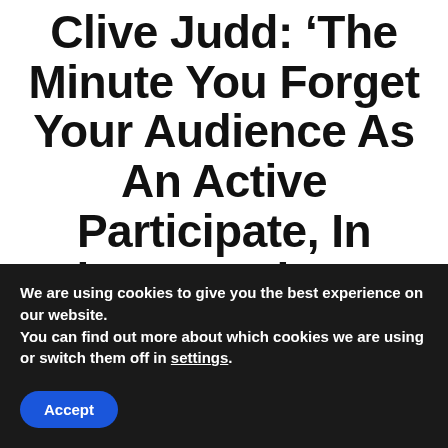Clive Judd: ‘The Minute You Forget Your Audience As An Active Participate, In Whatever Live Art Context, Whatever Your Discipline, That’s The Minute You’ve Got
We are using cookies to give you the best experience on our website.
You can find out more about which cookies we are using or switch them off in settings.
Accept